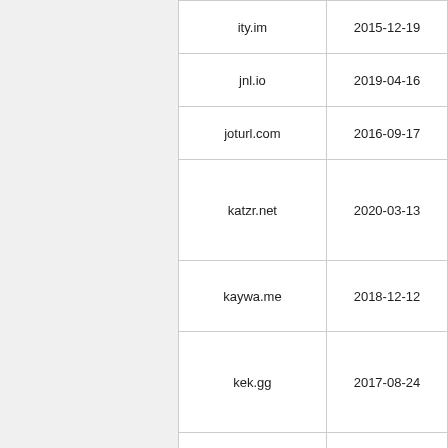| Domain | Date |
| --- | --- |
| ity.im | 2015-12-19 |
| jnl.io | 2019-04-16 |
| joturl.com | 2016-09-17 |
| katzr.net | 2020-03-13 |
| kaywa.me | 2018-12-12 |
| kek.gg | 2017-08-24 |
| kics.it | 2016-09-17 |
|  |  |